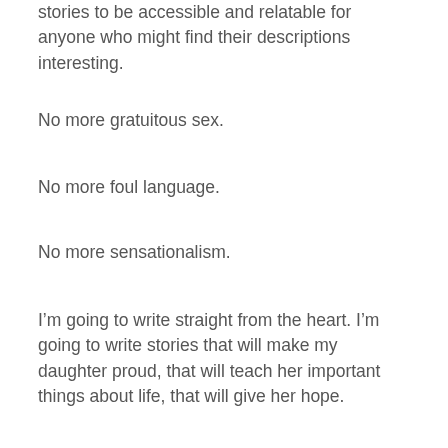stories to be accessible and relatable for anyone who might find their descriptions interesting.
No more gratuitous sex.
No more foul language.
No more sensationalism.
I’m going to write straight from the heart. I’m going to write stories that will make my daughter proud, that will teach her important things about life, that will give her hope.